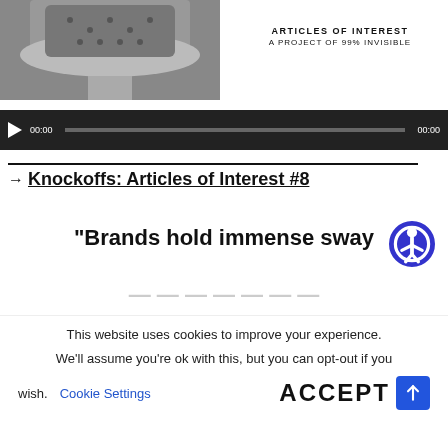[Figure (photo): Black and white photo of a person wearing a Louis Vuitton monogram hat with fuzzy brim]
ARTICLES OF INTEREST
A PROJECT OF 99% INVISIBLE
[Figure (screenshot): Audio player with play button, 00:00 time, progress bar, and 00:00 duration on dark background]
→ Knockoffs: Articles of Interest #8
"Brands hold immense sway
This website uses cookies to improve your experience.
We'll assume you're ok with this, but you can opt-out if you wish.
Cookie Settings
ACCEPT